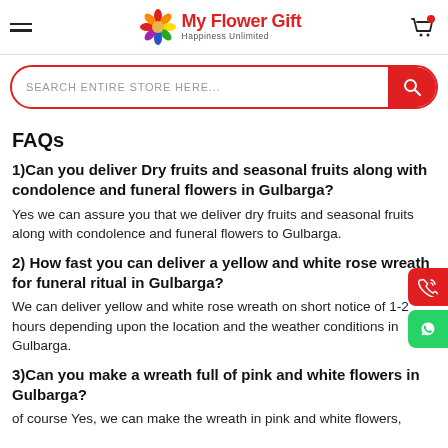My Flower Gift — Happiness Unlimited
SEARCH ENTIRE STORE HERE...
FAQs
1)Can you deliver Dry fruits and seasonal fruits along with condolence and funeral flowers in Gulbarga?
Yes we can assure you that we deliver dry fruits and seasonal fruits along with condolence and funeral flowers to Gulbarga.
2) How fast you can deliver a yellow and white rose wreath for funeral ritual in Gulbarga?
We can deliver yellow and white rose wreath on short notice of 1-2 hours depending upon the location and the weather conditions in Gulbarga.
3)Can you make a wreath full of pink and white flowers in Gulbarga?
of course Yes, we can make the wreath in pink and white flowers,